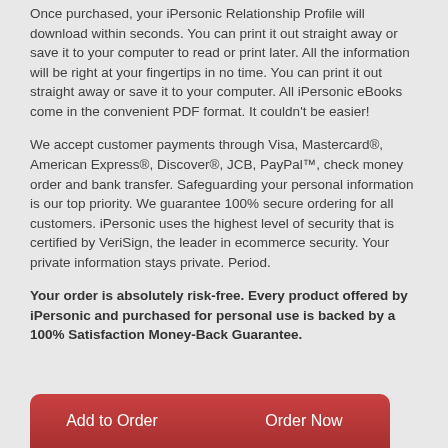Once purchased, your iPersonic Relationship Profile will download within seconds. You can print it out straight away or save it to your computer to read or print later. All the information will be right at your fingertips in no time. You can print it out straight away or save it to your computer. All iPersonic eBooks come in the convenient PDF format. It couldn't be easier!
We accept customer payments through Visa, Mastercard®, American Express®, Discover®, JCB, PayPal™, check money order and bank transfer. Safeguarding your personal information is our top priority. We guarantee 100% secure ordering for all customers. iPersonic uses the highest level of security that is certified by VeriSign, the leader in ecommerce security. Your private information stays private. Period.
Your order is absolutely risk-free. Every product offered by iPersonic and purchased for personal use is backed by a 100% Satisfaction Money-Back Guarantee.